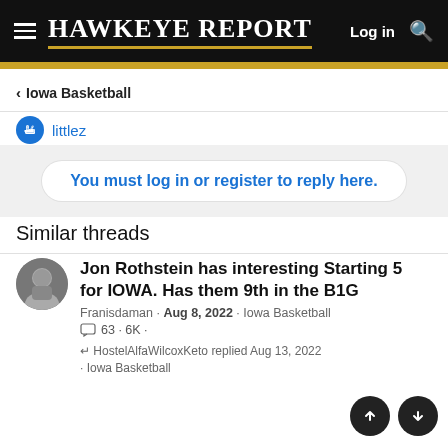Hawkeye Report — Log in
< Iowa Basketball
littlez
You must log in or register to reply here.
Similar threads
Jon Rothstein has interesting Starting 5 for IOWA. Has them 9th in the B1G
Franisdaman · Aug 8, 2022 · Iowa Basketball
63 · 6K ·
HostelAlfaWilcoxKeto replied Aug 13, 2022 · Iowa Basketball